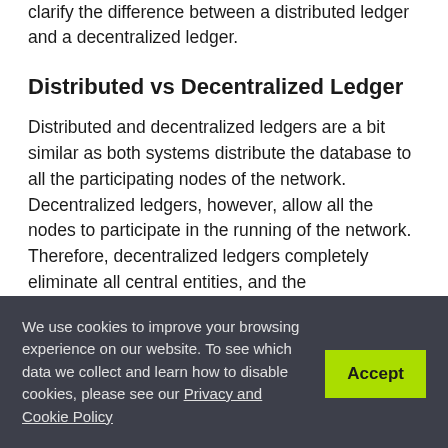clarify the difference between a distributed ledger and a decentralized ledger.
Distributed vs Decentralized Ledger
Distributed and decentralized ledgers are a bit similar as both systems distribute the database to all the participating nodes of the network. Decentralized ledgers, however, allow all the nodes to participate in the running of the network. Therefore, decentralized ledgers completely eliminate all central entities, and the
We use cookies to improve your browsing experience on our website. To see which data we collect and learn how to disable cookies, please see our Privacy and Cookie Policy